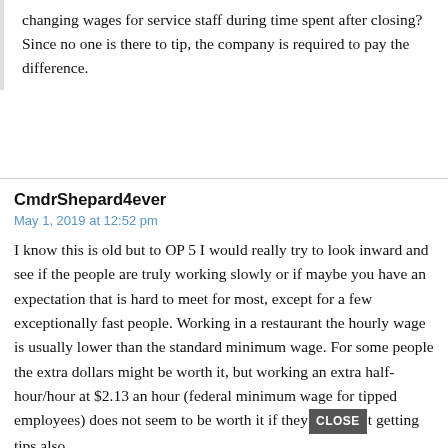changing wages for service staff during time spent after closing? Since no one is there to tip, the company is required to pay the difference.
CmdrShepard4ever
May 1, 2019 at 12:52 pm
I know this is old but to OP 5 I would really try to look inward and see if the people are truly working slowly or if maybe you have an expectation that is hard to meet for most, except for a few exceptionally fast people. Working in a restaurant the hourly wage is usually lower than the standard minimum wage. For some people the extra dollars might be worth it, but working an extra half-hour/hour at $2.13 an hour (federal minimum wage for tipped employees) does not seem to be worth it if they [CLOSE] t getting tips also.